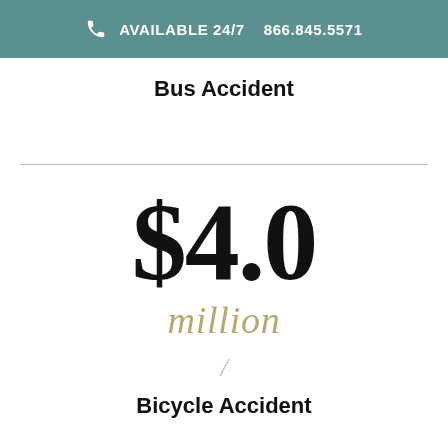AVAILABLE 24/7   866.845.5571
Bus Accident
$4.0 million
Bicycle Accident